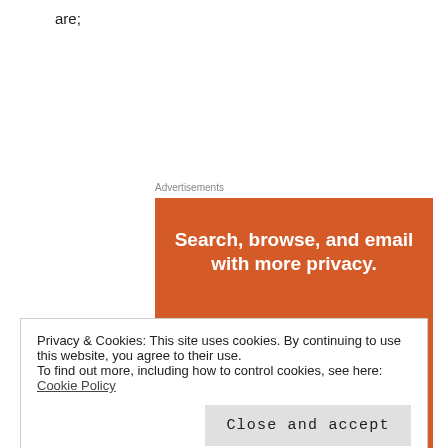are;
Advertisements
[Figure (screenshot): DuckDuckGo advertisement banner on orange background showing a smartphone with DuckDuckGo duck logo. Text reads: Search, browse, and email with more privacy. All in One Free App.]
Privacy & Cookies: This site uses cookies. By continuing to use this website, you agree to their use.
To find out more, including how to control cookies, see here: Cookie Policy
Close and accept